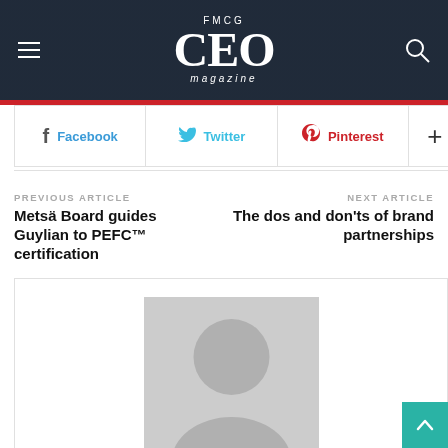FMCG CEO magazine
Facebook  Twitter  Pinterest  +
PREVIOUS ARTICLE
Metsä Board guides Guylian to PEFC™ certification
NEXT ARTICLE
The dos and don'ts of brand partnerships
[Figure (illustration): Gray placeholder avatar silhouette representing author photo]
Felicity Smith